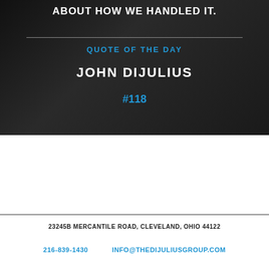[Figure (photo): Dark background image of a man in a suit, partially visible, used as banner background]
ABOUT HOW WE HANDLED IT.
QUOTE OF THE DAY
JOHN DIJULIUS
#118
23245B MERCANTILE ROAD, CLEVELAND, OHIO 44122
216-839-1430     INFO@THEDIJULIUSGROUP.COM